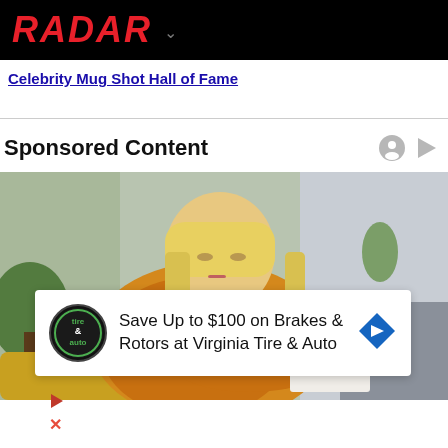RADAR
Celebrity Mug Shot Hall of Fame
Sponsored Content
[Figure (photo): A blonde woman in a yellow/mustard sweater looking down, appearing worried or concerned, seated indoors with plants and neutral decor in background]
Save Up to $100 on Brakes & Rotors at Virginia Tire & Auto